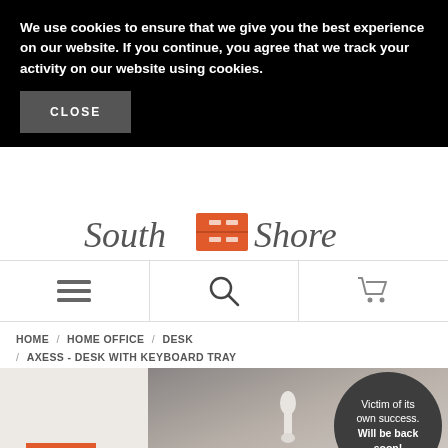We use cookies to ensure that we give you the best experience on our website. If you continue, you agree that we track your activity on our website using cookies.
CLOSE
[Figure (logo): South Shore logo with italic serif text and orange dresser icon between the words]
[Figure (infographic): Navigation bar with hamburger menu icon, search icon, and shopping cart icon]
HOME / HOME OFFICE / DESK / AXESS - DESK WITH KEYBOARD TRAY
[Figure (photo): Product photo of the Axess desk with keyboard tray, dark grey background with white vases. A dark circle badge reads 'Victim of its own success. Will be back soon!']